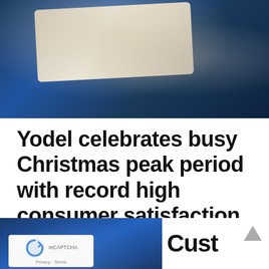[Figure (photo): Hands exchanging a white package/box, person in blue outfit, delivery scene]
Yodel celebrates busy Christmas peak period with record high consumer satisfaction levels
January 13, 2016  Dominic Lill  0 Comments  Black Friday, Christmas, customer experience, delivery, Yodel
[Figure (photo): Person in blue uniform, partial photo at bottom left, and partial text 'Cust' with upward arrow at bottom right]